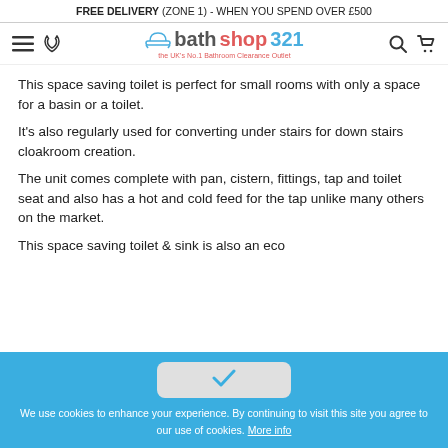FREE DELIVERY (ZONE 1) - WHEN YOU SPEND OVER £500
[Figure (logo): bathshop321 logo with bathtub icon and tagline 'the UK's No.1 Bathroom Clearance Outlet']
This space saving toilet is perfect for small rooms with only a space for a basin or a toilet.
It's also regularly used for converting under stairs for down stairs cloakroom creation.
The unit comes complete with pan, cistern, fittings, tap and toilet seat and also has a hot and cold feed for the tap unlike many others on the market.
This space saving toilet & sink is also an eco
[Figure (screenshot): Cookie consent banner with checkmark button and text: We use cookies to enhance your experience. By continuing to visit this site you agree to our use of cookies. More info]